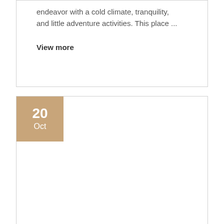endeavor with a cold climate, tranquility, and little adventure activities. This place ...
View more
20 Oct